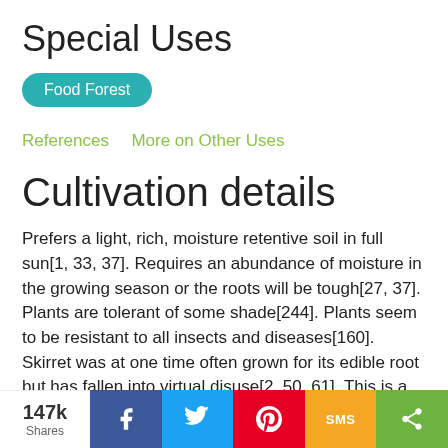Special Uses
Food Forest
References   More on Other Uses
Cultivation details
Prefers a light, rich, moisture retentive soil in full sun[1, 33, 37]. Requires an abundance of moisture in the growing season or the roots will be tough[27, 37]. Plants are tolerant of some shade[244]. Plants seem to be resistant to all insects and diseases[160]. Skirret was at one time often grown for its edible root but has fallen into virtual disuse[2, 50, 61]. This is a shame since the root is very tasty, easy to grow and relatively productive[K]. The form S. sisarum sisarum should be used, its root is fleshy and succulent. S.
147k Shares